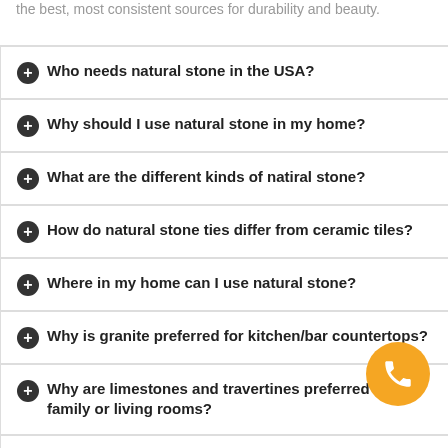the best, most consistent sources for durability and beauty.
Who needs natural stone in the USA?
Why should I use natural stone in my home?
What are the different kinds of natiral stone?
How do natural stone ties differ from ceramic tiles?
Where in my home can I use natural stone?
Why is granite preferred for kitchen/bar countertops?
Why are limestones and travertines preferred for family or living rooms?
Why is marble preferred for bathrooms and fireplaces?
Why is slate preferred for patios or atriums?